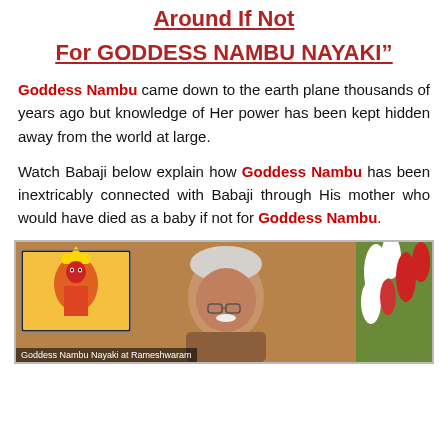Around If Not
For GODDESS NAMBU NAYAKI”
Goddess Nambu came down to the earth plane thousands of years ago but knowledge of Her power has been kept hidden away from the world at large.
Watch Babaji below explain how Goddess Nambu has been inextricably connected with Babaji through His mother who would have died as a baby if not for Goddess Nambu.
[Figure (photo): Video screenshot showing an elderly Indian man (Babaji) speaking, with an inset image of Goddess Nambu Nayaki idol at Rameshwaram and flowers in the background. Caption reads: Goddess Nambu Nayaki at Rameshwaram]